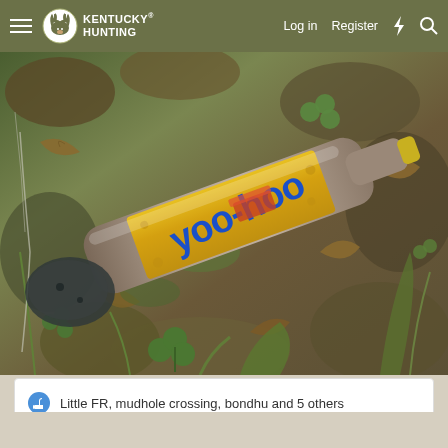Kentucky Hunting — Log in  Register
[Figure (photo): A Yoo-hoo chocolate drink bottle lying on a forest floor covered with dead leaves, green clover, moss, and twigs.]
Little FR, mudhole crossing, bondhu and 5 others